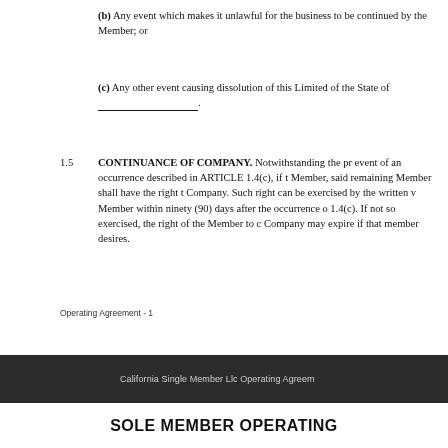(b) Any event which makes it unlawful for the business to be continued by the Member; or
(c) Any other event causing dissolution of this Limited of the State of ___________________.
1.5 CONTINUANCE OF COMPANY. Notwithstanding the previous event of an occurrence described in ARTICLE 1.4(c), if the Member, said remaining Member shall have the right to Company. Such right can be exercised by the written vote of Member within ninety (90) days after the occurrence of 1.4(c). If not so exercised, the right of the Member to continue Company may expire if that member desires.
Operating Agreement - 1
California Single Member Llc Operating Agreement
SOLE MEMBER OPERATING